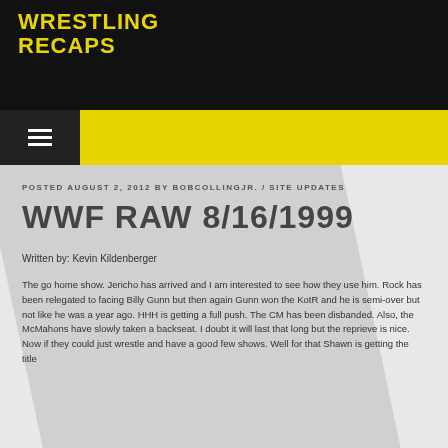[Figure (logo): Wrestling Recaps logo in yellow text on black background]
POSTED AUGUST 2, 2012 BY BOBCOLLINGJR. / SITE UPDATES
WWF RAW 8/16/1999
Written by: Kevin Kildenberger
The go home show. Jericho has arrived and I am interested to see how they use him. Rock has been relegated to facing Billy Gunn but then again Gunn won the KotR and he is semi-over but not like he was a year ago. HHH is getting a full push. The CM has been disbanded. Also, the McMahons have slowly taken a backseat. I doubt it will last that long but the reprieve is nice. Now if they could just wrestle and have a good few shows. Well for that Shawn is getting the title